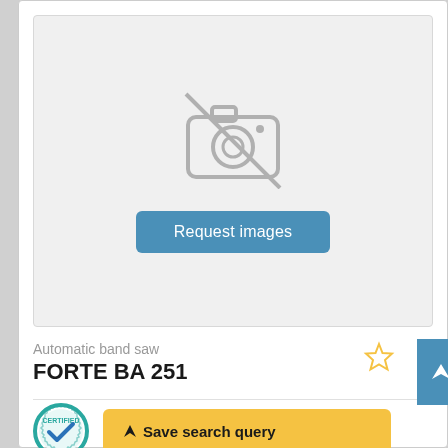[Figure (screenshot): Product listing card showing a no-image placeholder with camera icon crossed out, a 'Request images' button, product category 'Automatic band saw', product name 'FORTE BA 251', a certified badge, a 'Save search query' button, a star (favorite) icon, and an up-arrow navigation button.]
Automatic band saw
FORTE  BA 251